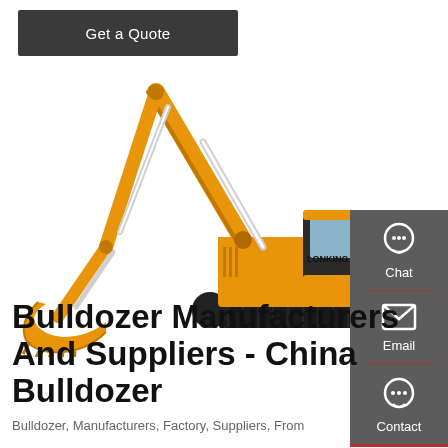Get a Quote
[Figure (photo): Yellow Lonking excavator/construction machine on white background, with articulated arm and bucket extended to the left, black tracks visible]
[Figure (infographic): Dark grey sidebar with three contact options: Chat (headset icon), Email (envelope icon), Contact (speech bubble with dots icon), separated by red dividers]
Bulldozer Manufacturers And Suppliers - China Bulldozer
Bulldozer, Manufacturers, Factory, Suppliers, From